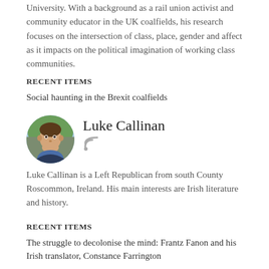University. With a background as a rail union activist and community educator in the UK coalfields, his research focuses on the intersection of class, place, gender and affect as it impacts on the political imagination of working class communities.
RECENT ITEMS
Social haunting in the Brexit coalfields
Luke Callinan
[Figure (photo): Circular profile photo of Luke Callinan, a man outdoors with trees in background]
Luke Callinan is a Left Republican from south County Roscommon, Ireland. His main interests are Irish literature and history.
RECENT ITEMS
The struggle to decolonise the mind: Frantz Fanon and his Irish translator, Constance Farrington